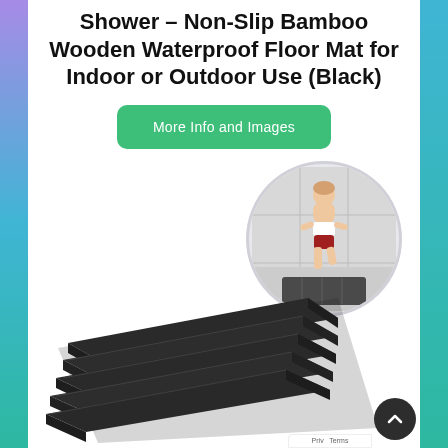Shower – Non-Slip Bamboo Wooden Waterproof Floor Mat for Indoor or Outdoor Use (Black)
More Info and Images
[Figure (photo): Product photo showing a dark bamboo non-slip shower mat in the foreground and a circular inset photo of a woman standing on the mat in a shower]